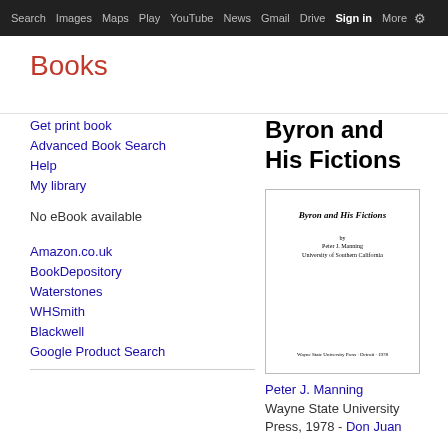Search  Images  Maps  Play  YouTube  News  Gmail  Drive  More  Sign in  Settings
Books
Get print book
Advanced Book Search
Help
My library
No eBook available
Amazon.co.uk
BookDepository
Waterstones
WHSmith
Blackwell
Google Product Search
Byron and His Fictions
[Figure (illustration): Book cover of Byron and His Fictions showing title in italic, author Peter J. Manning, University of Southern California, Wayne State University Press, Detroit, 1978]
Peter J. Manning
Wayne State University Press, 1978 - Don Juan